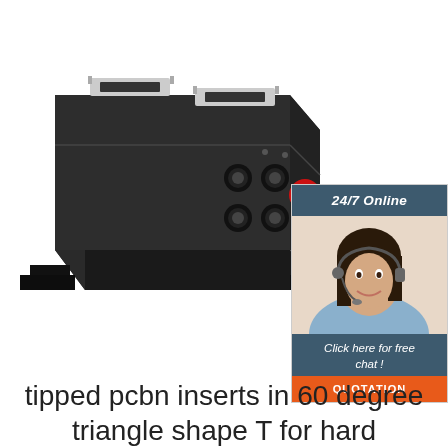[Figure (photo): A black rectangular industrial battery/power unit with metal handles on top and connectors on the front face, with mounting brackets at the base. Shown at an angle on white background.]
[Figure (infographic): Customer service chat widget showing '24/7 Online' header, photo of smiling woman with headset, text 'Click here for free chat!', and orange QUOTATION button.]
tipped pcbn inserts in 60 degree triangle shape T for hard